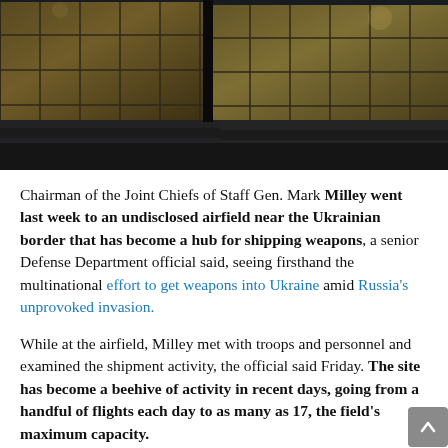[Figure (photo): Night-time photograph of military cargo pallets loaded on flatbed vehicles at an airfield, with crated equipment visible under dark skies.]
Chairman of the Joint Chiefs of Staff Gen. Mark Milley went last week to an undisclosed airfield near the Ukrainian border that has become a hub for shipping weapons, a senior Defense Department official said, seeing firsthand the multinational effort to get weapons into Ukraine amid Russia's unprovoked invasion.
While at the airfield, Milley met with troops and personnel and examined the shipment activity, the official said Friday. The site has become a beehive of activity in recent days, going from a handful of flights each day to as many as 17, the field's maximum capacity.